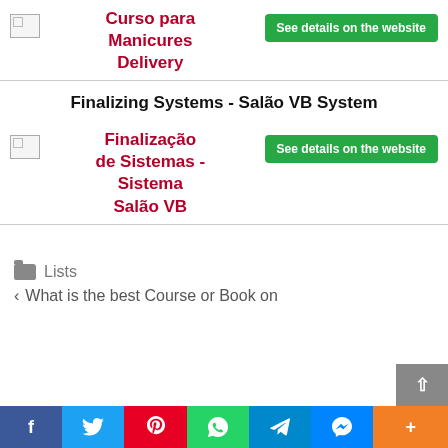[Figure (illustration): Product image placeholder for Curso para Manicures Delivery with title link]
Curso para Manicures Delivery
See details on the website
Finalizing Systems - Salão VB System
[Figure (illustration): Product image placeholder for Finalização de Sistemas - Sistema Salão VB with title link]
Finalização de Sistemas - Sistema Salão VB
See details on the website
Lists
What is the best Course or Book on
f  Twitter  Pinterest  WhatsApp  Telegram  Messenger  +